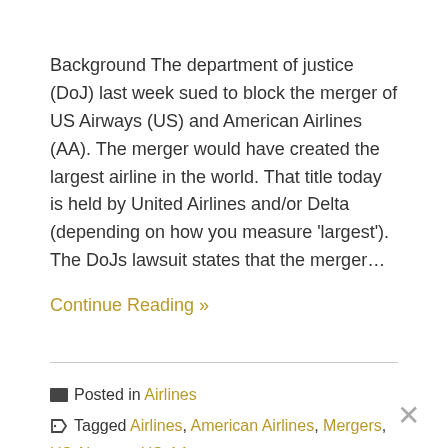Background The department of justice (DoJ) last week sued to block the merger of US Airways (US) and American Airlines (AA). The merger would have created the largest airline in the world. That title today is held by United Airlines and/or Delta (depending on how you measure 'largest'). The DoJs lawsuit states that the merger…
Continue Reading »
Posted in Airlines
Tagged Airlines, American Airlines, Mergers, US Airways, US-AA merger